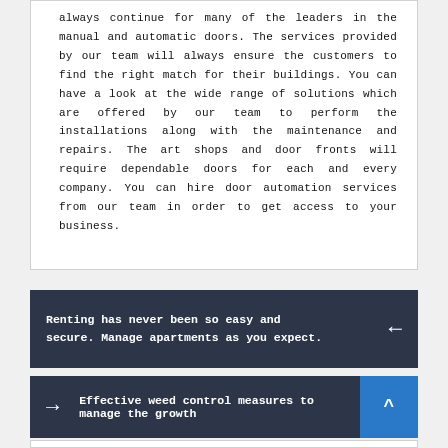always continue for many of the leaders in the manual and automatic doors. The services provided by our team will always ensure the customers to find the right match for their buildings. You can have a look at the wide range of solutions which are offered by our team to perform the installations along with the maintenance and repairs. The art shops and door fronts will require dependable doors for each and every company. You can hire door automation services from our team in order to get access to your business.
Renting has never been so easy and secure. Manage apartments as you expect.
Effective weed control measures to manage the growth